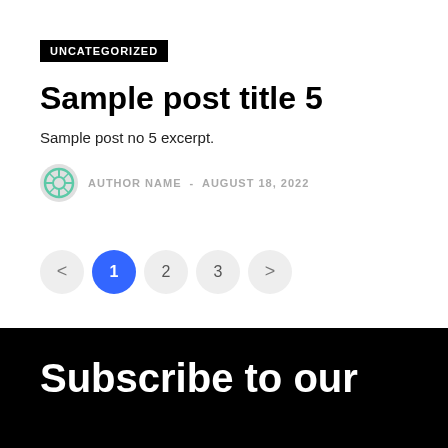UNCATEGORIZED
Sample post title 5
Sample post no 5 excerpt.
AUTHOR NAME - AUGUST 18, 2022
< 1 2 3 >
Subscribe to our